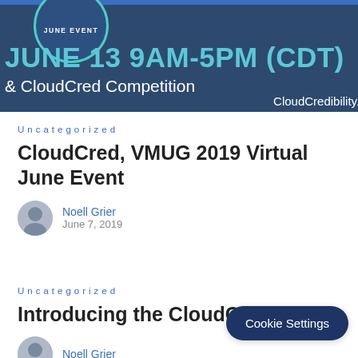[Figure (illustration): Banner image with dark navy background showing 'JUNE EVENT' circle badge, large cyan text 'JUNE 13 9AM-5PM (CDT)', subtitle '& CloudCred Competition', and URL 'CloudCredibility.co']
Uncategorized
CloudCred, VMUG 2019 Virtual June Event
Noell Grier
June 7, 2019
Uncategorized
Introducing the CloudCr...
Noell Grier
Cookie Settings